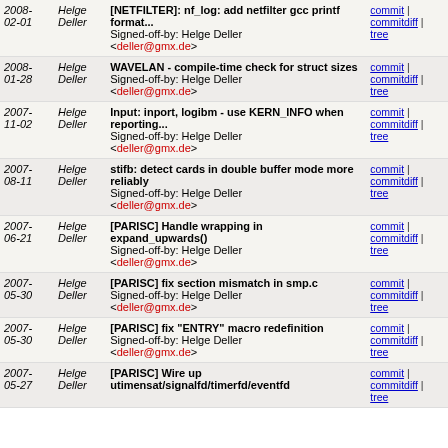| Date | Author | Message | Links |
| --- | --- | --- | --- |
| 2008-02-01 | Helge Deller | [NETFILTER]: nf_log: add netfilter gcc printf format...
Signed-off-by: Helge Deller <deller@gmx.de> | commit | commitdiff | tree |
| 2008-01-28 | Helge Deller | WAVELAN - compile-time check for struct sizes
Signed-off-by: Helge Deller <deller@gmx.de> | commit | commitdiff | tree |
| 2007-11-02 | Helge Deller | Input: inport, logibm - use KERN_INFO when reporting...
Signed-off-by: Helge Deller <deller@gmx.de> | commit | commitdiff | tree |
| 2007-08-11 | Helge Deller | stifb: detect cards in double buffer mode more reliably
Signed-off-by: Helge Deller <deller@gmx.de> | commit | commitdiff | tree |
| 2007-06-21 | Helge Deller | [PARISC] Handle wrapping in expand_upwards()
Signed-off-by: Helge Deller <deller@gmx.de> | commit | commitdiff | tree |
| 2007-05-30 | Helge Deller | [PARISC] fix section mismatch in smp.c
Signed-off-by: Helge Deller <deller@gmx.de> | commit | commitdiff | tree |
| 2007-05-30 | Helge Deller | [PARISC] fix "ENTRY" macro redefinition
Signed-off-by: Helge Deller <deller@gmx.de> | commit | commitdiff | tree |
| 2007-05-27 | Helge Deller | [PARISC] Wire up utimensat/signalfd/timerfd/eventfd... | commit | commitdiff | tree |